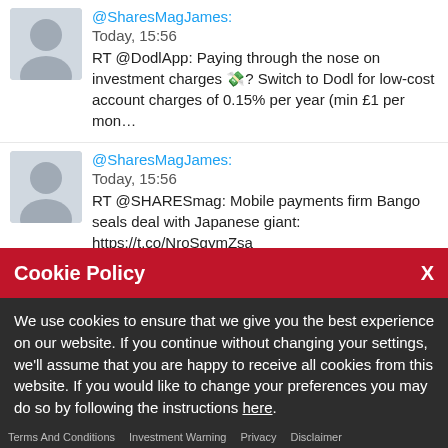@SharesMagJames:
Today, 15:56
RT @DodlApp: Paying through the nose on investment charges 💸? Switch to Dodl for low-cost account charges of 0.15% per year (min £1 per mon…
@SharesMagJames:
Today, 15:56
RT @SHARESmag: Mobile payments firm Bango seals deal with Japanese giant: https://t.co/NroSgymZsa
@SharesMagJames:
Cookie Policy
We use cookies to ensure that we give you the best experience on our website. If you continue without changing your settings, we'll assume that you are happy to receive all cookies from this website. If you would like to change your preferences you may do so by following the instructions here.
Terms And Conditions   Investment Warning   Privacy   Disclaimer